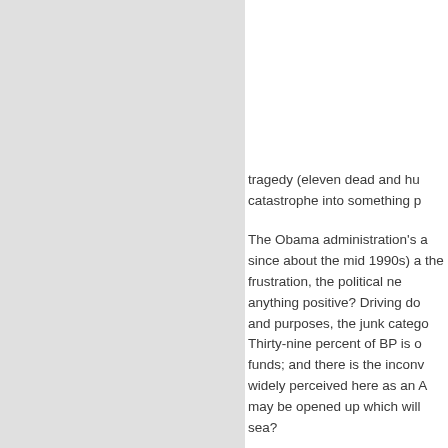tragedy (eleven dead and hu catastrophe into something p
The Obama administration's s since about the mid 1990s) a the frustration, the political ne anything positive? Driving do and purposes, the junk catego Thirty-nine percent of BP is o funds; and there is the inconv widely perceived here as an A may be opened up which will sea?